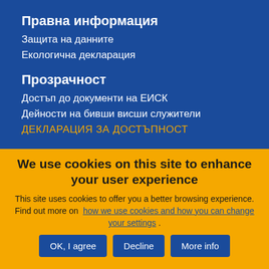Правна информация
Защита на данните
Екологична декларация
Прозрачност
Достъп до документи на ЕИСК
Дейности на бивши висши служители
ДЕКЛАРАЦИЯ ЗА ДОСТЪПНОСТ
We use cookies on this site to enhance your user experience
This site uses cookies to offer you a better browsing experience. Find out more on how we use cookies and how you can change your settings .